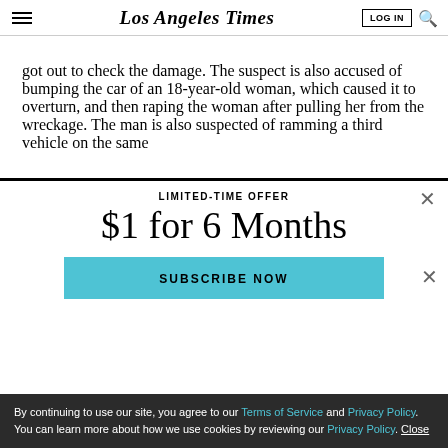Los Angeles Times
got out to check the damage. The suspect is also accused of bumping the car of an 18-year-old woman, which caused it to overturn, and then raping the woman after pulling her from the wreckage. The man is also suspected of ramming a third vehicle on the same
LIMITED-TIME OFFER
$1 for 6 Months
SUBSCRIBE NOW
By continuing to use our site, you agree to our Terms of Service and Privacy Policy. You can learn more about how we use cookies by reviewing our Privacy Policy. Close